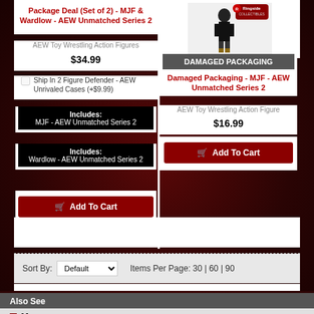Package Deal (Set of 2) - MJF & Wardlow - AEW Unmatched Series 2
AEW Toy Wrestling Action Figures
$34.99
Ship In 2 Figure Defender - AEW Unrivaled Cases (+$9.99)
Includes: MJF - AEW Unmatched Series 2
Includes: Wardlow - AEW Unmatched Series 2
Add To Cart
[Figure (photo): AEW wrestling figure product photo with Ringside Collectibles logo]
DAMAGED PACKAGING
Damaged Packaging - MJF - AEW Unmatched Series 2
AEW Toy Wrestling Action Figure
$16.99
Add To Cart
Sort By: Default   Items Per Page: 30 | 60 | 90
Also See
Moos